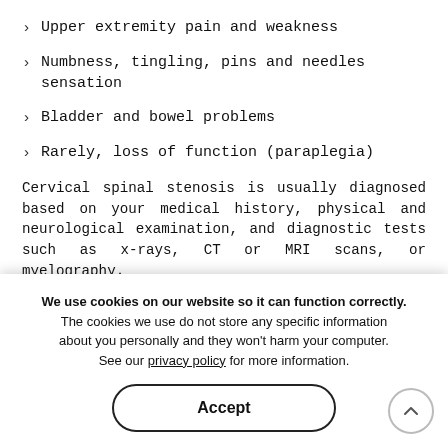Upper extremity pain and weakness
Numbness, tingling, pins and needles sensation
Bladder and bowel problems
Rarely, loss of function (paraplegia)
Cervical spinal stenosis is usually diagnosed based on your medical history, physical and neurological examination, and diagnostic tests such as x-rays, CT or MRI scans, or myelography.
Cervical stenosis may be treated with conservative treatment approaches such as use of pain medications, physical therapy, steroid injections, or nerve procedure. In chronic cases when conservative treatment fails, the condition. Surgery is considered for patients in whom the pain is not responsive to prolonged treatment.
We use cookies on our website so it can function correctly. The cookies we use do not store any specific information about you personally and they won't harm your computer. See our privacy policy for more information.